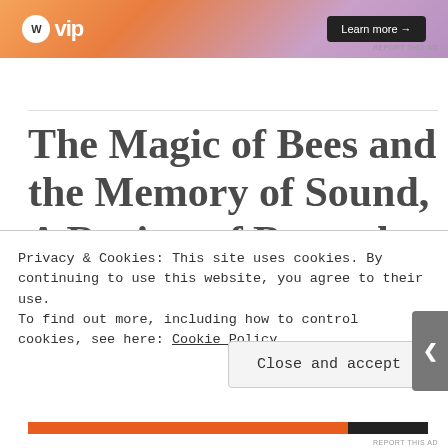[Figure (other): Advertisement banner with W VIP logo in circle and 'Learn more →' button on gradient orange-purple background]
The Magic of Bees and the Memory of Sound, A Review of Beyond the Latch and Lever
[Figure (other): Teal/blue-grey horizontal bar below article title]
Privacy & Cookies: This site uses cookies. By continuing to use this website, you agree to their use.
To find out more, including how to control cookies, see here: Cookie Policy
Close and accept